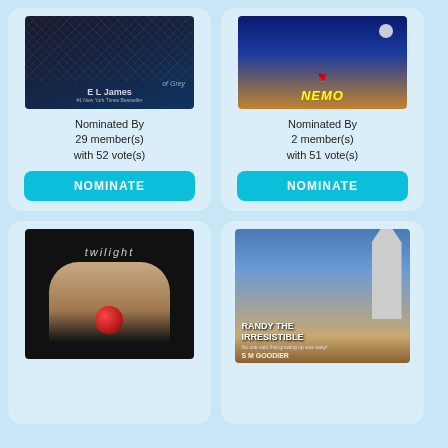[Figure (photo): Book card: Fifty Shades of Grey by E L James. Book cover showing dark mesh/tie pattern. Nominated By 29 member(s) with 52 vote(s). NOMINATE button.]
[Figure (photo): Book card: On The Sand – Nemo. Book cover with night desert scene and crescent moon. Nominated By 2 member(s) with 51 vote(s). NOMINATE button.]
[Figure (photo): Book card: Twilight. Book cover showing hands holding a red apple on black background. No nomination text visible.]
[Figure (photo): Book card: Randy The Irresistible by S M Goodier. Book cover with London/Big Ben scene. No nomination text visible.]